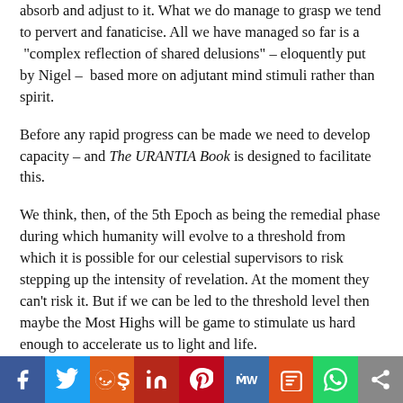absorb and adjust to it. What we do manage to grasp we tend to pervert and fanaticise. All we have managed so far is a “complex reflection of shared delusions” – eloquently put by Nigel – based more on adjutant mind stimuli rather than spirit.
Before any rapid progress can be made we need to develop capacity – and The URANTIA Book is designed to facilitate this.
We think, then, of the 5th Epoch as being the remedial phase during which humanity will evolve to a threshold from which it is possible for our celestial supervisors to risk stepping up the intensity of revelation. At the moment they can’t risk it. But if we can be led to the threshold level then maybe the Most Highs will be game to stimulate us hard enough to accelerate us to light and life.
[Figure (infographic): Social media sharing bar with icons for Facebook, Twitter, Reddit, LinkedIn, Pinterest, MeWe, Mix, WhatsApp, and a share button]